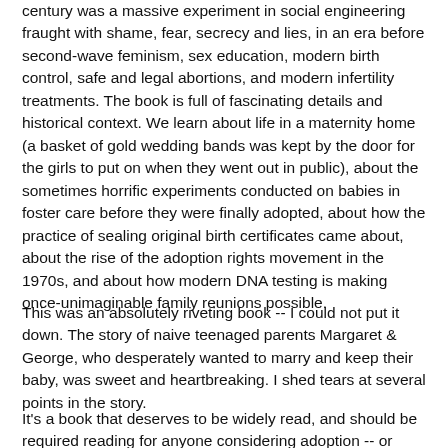century was a massive experiment in social engineering fraught with shame, fear, secrecy and lies, in an era before second-wave feminism, sex education, modern birth control, safe and legal abortions, and modern infertility treatments. The book is full of fascinating details and historical context. We learn about life in a maternity home (a basket of gold wedding bands was kept by the door for the girls to put on when they went out in public), about the sometimes horrific experiments conducted on babies in foster care before they were finally adopted, about how the practice of sealing original birth certificates came about, about the rise of the adoption rights movement in the 1970s, and about how modern DNA testing is making once-unimaginable family reunions possible.
This was an absolutely riveting book -- I could not put it down. The story of naive teenaged parents Margaret & George, who desperately wanted to marry and keep their baby, was sweet and heartbreaking. I shed tears at several points in the story.
It's a book that deserves to be widely read, and should be required reading for anyone considering adoption -- or